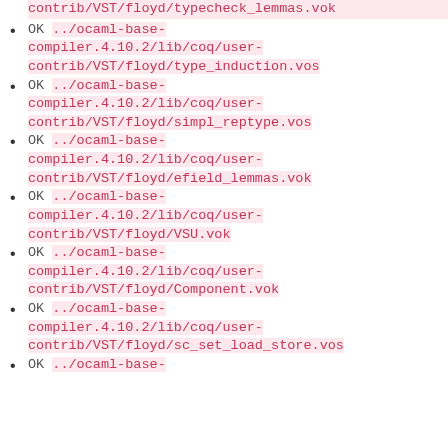OK ../ocaml-base-compiler.4.10.2/lib/coq/user-contrib/VST/floyd/typecheck_lemmas.vok
OK ../ocaml-base-compiler.4.10.2/lib/coq/user-contrib/VST/floyd/type_induction.vos
OK ../ocaml-base-compiler.4.10.2/lib/coq/user-contrib/VST/floyd/simpl_reptype.vos
OK ../ocaml-base-compiler.4.10.2/lib/coq/user-contrib/VST/floyd/efield_lemmas.vok
OK ../ocaml-base-compiler.4.10.2/lib/coq/user-contrib/VST/floyd/VSU.vok
OK ../ocaml-base-compiler.4.10.2/lib/coq/user-contrib/VST/floyd/Component.vok
OK ../ocaml-base-compiler.4.10.2/lib/coq/user-contrib/VST/floyd/sc_set_load_store.vos
OK ../ocaml-base-